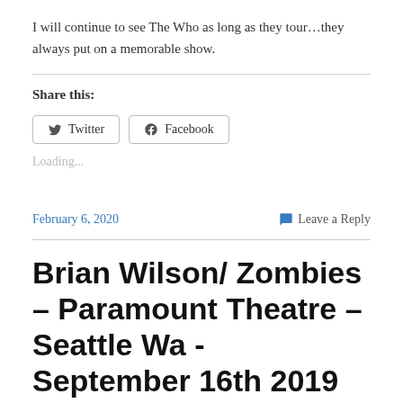I will continue to see The Who as long as they tour…they always put on a memorable show.
Share this:
Loading...
February 6, 2020    Leave a Reply
Brian Wilson/ Zombies – Paramount Theatre – Seattle Wa - September 16th 2019